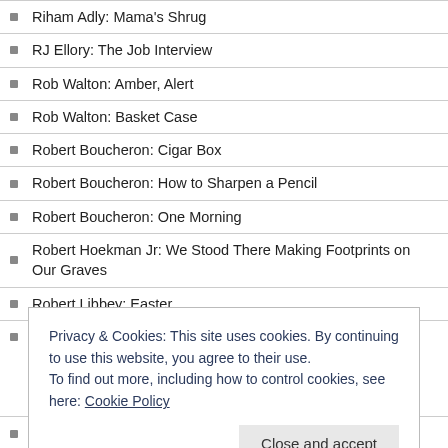Riham Adly: Mama's Shrug
RJ Ellory: The Job Interview
Rob Walton: Amber, Alert
Rob Walton: Basket Case
Robert Boucheron: Cigar Box
Robert Boucheron: How to Sharpen a Pencil
Robert Boucheron: One Morning
Robert Hoekman Jr: We Stood There Making Footprints on Our Graves
Robert Libbey: Easter
Robert Libbey: Saving Private Norman
Privacy & Cookies: This site uses cookies. By continuing to use this website, you agree to their use.
To find out more, including how to control cookies, see here: Cookie Policy
Robert Scotellaro: Voice-overs